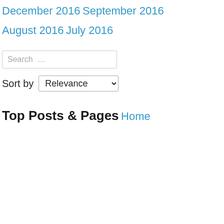December 2016
September 2016
August 2016
July 2016
Search …
Sort by Relevance
Top Posts & Pages
Home